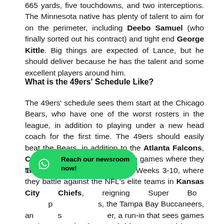665 yards, five touchdowns, and two interceptions. The Minnesota native has plenty of talent to aim for on the perimeter, including Deebo Samuel (who finally sorted out his contract) and tight end George Kittle. Big things are expected of Lance, but he should deliver because he has the talent and some excellent players around him.
What is the 49ers' Schedule Like?
The 49ers' schedule sees them start at the Chicago Bears, who have one of the worst rosters in the league, in addition to playing under a new head coach for the first time. The 49ers should easily beat the Bears, in addition to the Atlanta Falcons, Carolina Panthers, and the two games where they take on the Seattle Seahawks.
There is a tricky spell between Weeks 3-10, where they battle against the NFL's elite teams in Kansas City Chiefs, reigning Super Bo[wl champs], the Tampa Bay Buccaneers, and [others], a run-in that sees games against Miami Dolphins, Washington Commanders, and Las Vegas Raiders will not fill Lance and his teammates with fear.